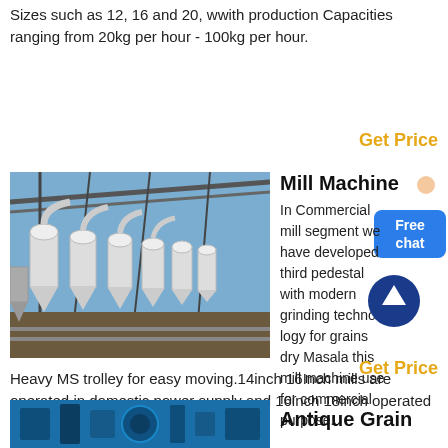Sizes such as 12, 16 and 20, wwith production Capacities ranging from 20kg per hour - 100kg per hour.
Get Price
[Figure (photo): Industrial mill machines in a large open facility with white cylindrical dust collectors and piping, under a steel roof structure.]
Mill Machine
In Commercial mill segment we have developed third pedestal with modern grinding technology for grains dry Masala this mill machine use for commercial purpose.
Heavy MS trolley for easy moving.14inch 16Inch mills are operated in domestic power supply and 16inch 18inch operated in commercial power supply.
Get Price
[Figure (photo): Antique Grain mill machine photograph, partially visible at bottom of page.]
Antique Grain